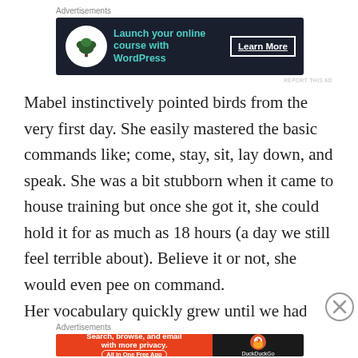[Figure (other): Advertisement banner: dark navy background with white circle icon containing a bonsai tree, teal text 'Launch your online course with WordPress', white 'Learn More' button with border]
Mabel instinctively pointed birds from the very first day. She easily mastered the basic commands like; come, stay, sit, lay down, and speak. She was a bit stubborn when it came to house training but once she got it, she could hold it for as much as 18 hours (a day we still feel terrible about). Believe it or not, she would even pee on command.
Her vocabulary quickly grew until we had to spell
[Figure (other): Advertisement banner: orange left section with white text 'Search, browse, and email with more privacy. All in One Free App', dark right section with DuckDuckGo logo and text]